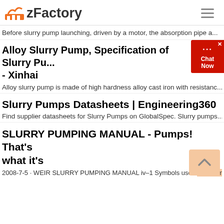zFactory
Before slurry pump launching, driven by a motor, the absorption pipe a...
Alloy Slurry Pump, Specification of Slurry Pu... - Xinhai
Alloy slurry pump is made of high hardness alloy cast iron with resistanc...
Slurry Pumps Datasheets | Engineering360
Find supplier datasheets for Slurry Pumps on GlobalSpec. Slurry pumps...
SLURRY PUMPING MANUAL - Pumps! That's what it's
2008-7-5  ·  WEIR SLURRY PUMPING MANUAL iv–1 Symbols used The term...